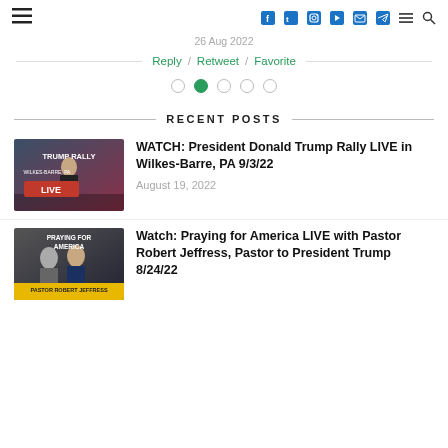Navigation bar with hamburger menu, social icons (Facebook, Twitter, Instagram, YouTube, Email, Telegram), menu icon, search icon
26 Aug 2022
Reply / Retweet / Favorite
[Figure (other): Carousel dot indicators, 5 dots, second dot active (green)]
RECENT POSTS
[Figure (photo): Trump Rally Live thumbnail image showing Trump at a podium with text 'TRUMP RALLY LIVE' and 'WILKES-BARRE, PA']
WATCH: President Donald Trump Rally LIVE in Wilkes-Barre, PA 9/3/22
August 19, 2022
[Figure (photo): Praying for America thumbnail image showing Pastor Robert Jeffress with Trump, text 'PRAYING FOR AMERICA' and 'PASTOR ROBERT JEFFRESS']
Watch: Praying for America LIVE with Pastor Robert Jeffress, Pastor to President Trump 8/24/22